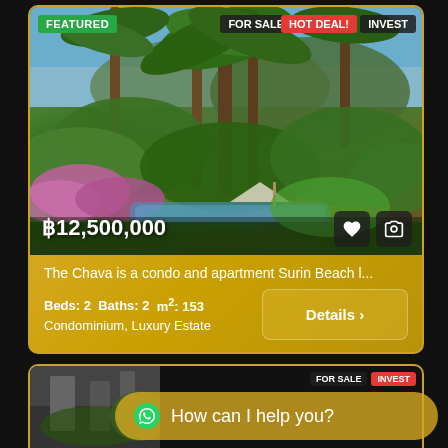[Figure (photo): Luxury tropical garden with palm trees, pink flowers, pool area and umbrella — property photo for The Chava condo at Surin Beach]
FEATURED
FOR SALE
HOT DEAL!
INVEST
฿12,500,000
The Chava is a condo and apartment Surin Beach l...
Beds: 2  Baths: 2  m²: 153
Condominium, Luxury Estate
Details ›
[Figure (screenshot): WhatsApp chat bubble: How can I help you?]
[Figure (photo): Second property listing partial photo at bottom of page]